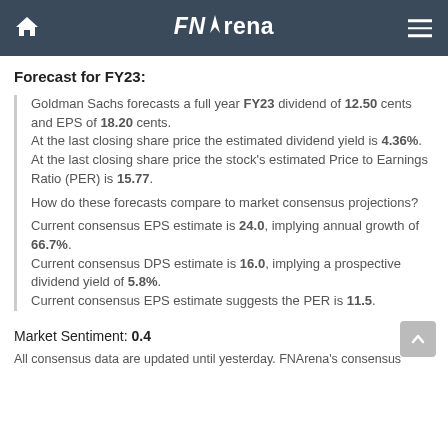FNArena
Forecast for FY23:
Goldman Sachs forecasts a full year FY23 dividend of 12.50 cents and EPS of 18.20 cents. At the last closing share price the estimated dividend yield is 4.36%. At the last closing share price the stock's estimated Price to Earnings Ratio (PER) is 15.77.
How do these forecasts compare to market consensus projections?
Current consensus EPS estimate is 24.0, implying annual growth of 66.7%. Current consensus DPS estimate is 16.0, implying a prospective dividend yield of 5.8%. Current consensus EPS estimate suggests the PER is 11.5.
Market Sentiment: 0.4
All consensus data are updated until yesterday. FNArena's consensus